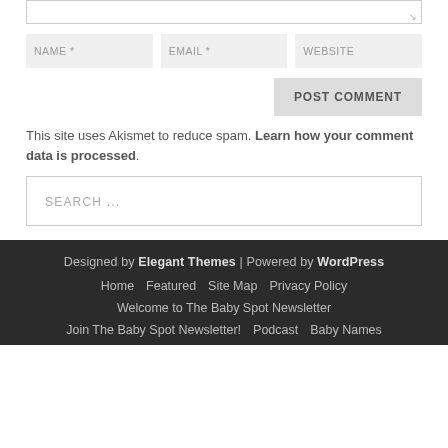[Figure (screenshot): Text area input box with resize handle at bottom right]
[Figure (screenshot): Three input fields: NAME *, EMAIL *, WEBSITE]
[Figure (screenshot): POST COMMENT button aligned to the right]
This site uses Akismet to reduce spam. Learn how your comment data is processed.
[Figure (screenshot): Search input field with placeholder text SEARCH ...]
Designed by Elegant Themes | Powered by WordPress
Home   Featured   Site Map   Privacy Policy
Welcome to The Baby Spot Newsletter
Join The Baby Spot Newsletter!   Podcast   Baby Names